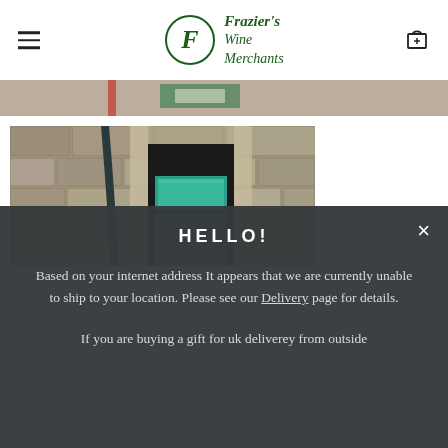Frazier's Wine Merchants
[Figure (photo): Cropped photo strip showing stone wall and architectural detail, used as a decorative banner.]
[Figure (photo): Photo of a rustic stone building exterior with a teal/green wooden door and a dark drainpipe — Frazier's Wine Merchants store front.]
HELLO!
Based on your internet address It appears that we are currently unable to ship to your location. Please see our Delivery page for details.
If you are buying a gift for uk deliverey from outside